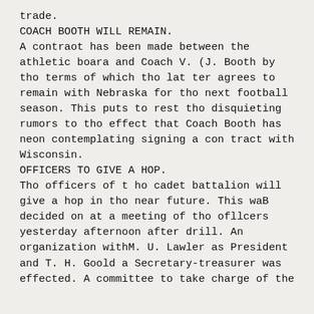trade.
COACH BOOTH WILL REMAIN.
A contraot has been made between the athletic boara and Coach V. (J. Booth by tho terms of which tho lat ter agrees to remain with Nebraska for tho next football season. This puts to rest tho disquieting rumors to tho effect that Coach Booth has neon contemplating signing a con tract with Wisconsin.
OFFICERS TO GIVE A HOP.
Tho officers of t ho cadet battalion will give a hop in tho near future. This waB decided on at a meeting of tho ofllcers yesterday afternoon after drill. An organization withM. U. Lawler as President and T. H. Goold a Secretary-treasurer was effected. A committee to take charge of the